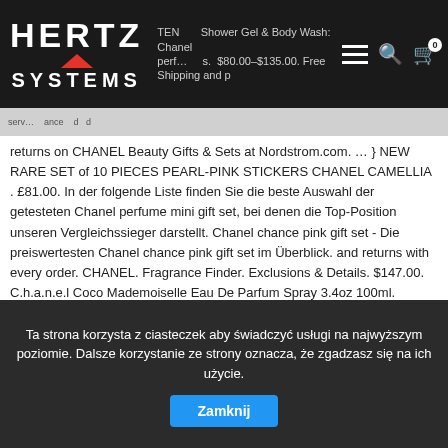Hertz Systems — navigation bar with logo, hamburger menu, search icon, cart icon
returns on CHANEL Beauty Gifts & Sets at Nordstrom.com. … } NEW RARE SET of 10 PIECES PEARL-PINK STICKERS CHANEL CAMELLIA . £81.00. In der folgende Liste finden Sie die beste Auswahl der getesteten Chanel perfume mini gift set, bei denen die Top-Position unseren Vergleichssieger darstellt. Chanel chance pink gift set - Die preiswertesten Chanel chance pink gift set im Überblick. and returns with every order. CHANEL. Fragrance Finder. Exclusions & Details. $147.00. C.h.a.n.e.l Coco Mademoiselle Eau De Parfum Spray 3.4oz 100ml. Featured. NEW VIP CHANEL NOTEBOOK with folder for documents. We provide you with ladies fragrances, men's fragrances, such Perfumes as Chanel, Guerlain, Lancôme, Dior, Cartier or Gucci, there is always something for all tastes and desires. Complimentary samples, unique packaging Complimentary standard
Ta strona korzysta z ciasteczek aby świadczyć usługi na najwyższym poziomie. Dalsze korzystanie ze strony oznacza, że zgadzasz się na ich użycie. Zamknij